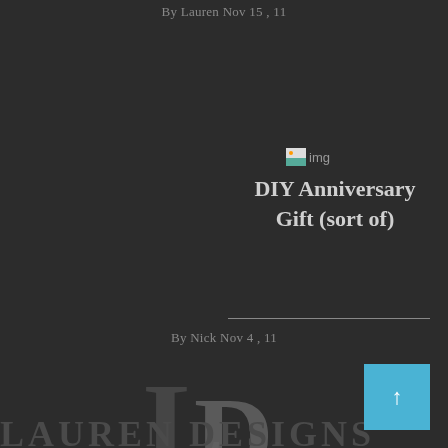By Lauren Nov 15 , 11
[Figure (other): Broken image placeholder labeled 'img']
DIY Anniversary Gift (sort of)
By Nick Nov 4 , 11
[Figure (logo): LD Designs logo — large overlapping serif letters L and D in dark gray tones]
[Figure (other): Cyan/teal square button with upward arrow (↑) in bottom-right corner]